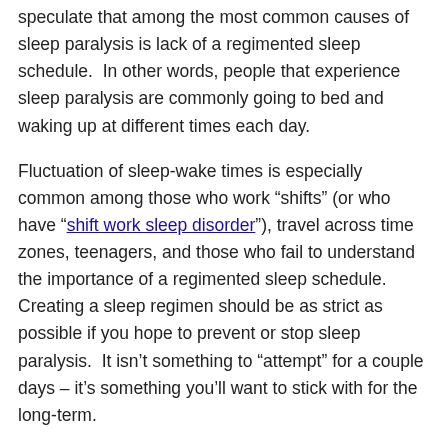speculate that among the most common causes of sleep paralysis is lack of a regimented sleep schedule.  In other words, people that experience sleep paralysis are commonly going to bed and waking up at different times each day.
Fluctuation of sleep-wake times is especially common among those who work “shifts” (or who have “shift work sleep disorder”), travel across time zones, teenagers, and those who fail to understand the importance of a regimented sleep schedule.  Creating a sleep regimen should be as strict as possible if you hope to prevent or stop sleep paralysis.  It isn’t something to “attempt” for a couple days – it’s something you’ll want to stick with for the long-term.
Your sleep regimen should involve: going to bed at the